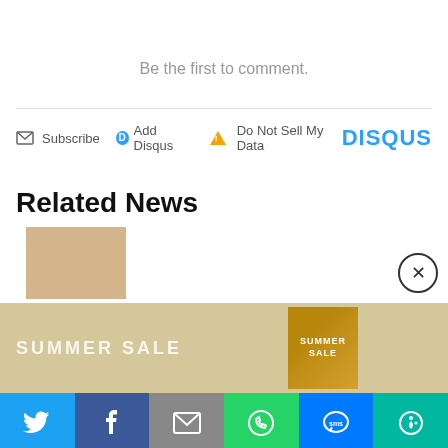Be the first to comment.
Subscribe  Add Disqus  Do Not Sell My Data  DISQUS
Related News
[Figure (photo): Related news article images with red pattern pillow and giraffe print]
[Figure (photo): Summer Sale advertisement banner with gold product image]
[Figure (infographic): Social sharing bar with Twitter, Facebook, Email, WhatsApp, SMS, and More buttons]